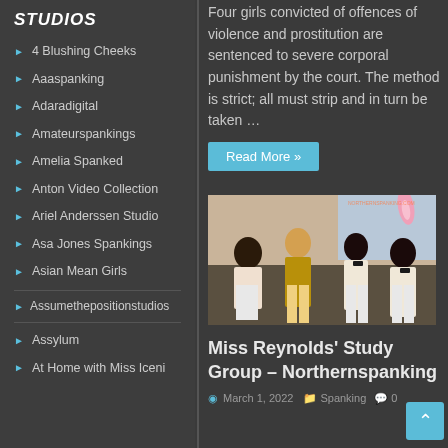STUDIOS
4 Blushing Cheeks
Aaaspanking
Adaradigital
Amateurspankings
Amelia Spanked
Anton Video Collection
Ariel Anderssen Studio
Asa Jones Spankings
Asian Mean Girls
Assumethepositionstudios
Assylum
At Home with Miss Iceni
Four girls convicted of offences of violence and prostitution are sentenced to severe corporal punishment by the court. The method is strict; all must strip and in turn be taken …
Read More »
[Figure (photo): Group of young women sitting together in a study group setting]
Miss Reynolds' Study Group – Northernspanking
March 1, 2022    Spanking    0